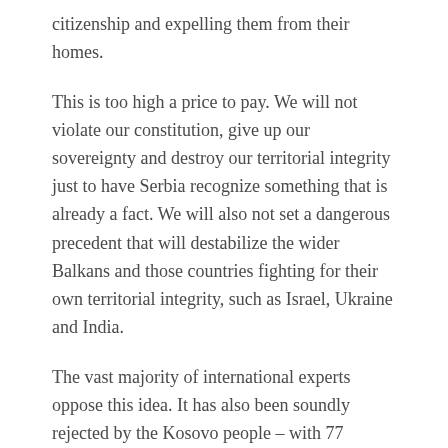citizenship and expelling them from their homes.
This is too high a price to pay. We will not violate our constitution, give up our sovereignty and destroy our territorial integrity just to have Serbia recognize something that is already a fact. We will also not set a dangerous precedent that will destabilize the wider Balkans and those countries fighting for their own territorial integrity, such as Israel, Ukraine and India.
The vast majority of international experts oppose this idea. It has also been soundly rejected by the Kosovo people – with 77 percent voting against it in a recent poll. As the country's prime minister, I would never support such a trade.
More fundamentally, we also have no confidence that Serbia will honor its commitments, given its history of acting in bad faith. Serbia has failed to implement any major agreement it has entered into with Kosovo, including